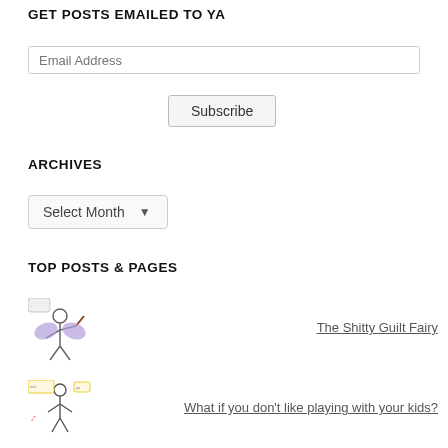GET POSTS EMAILED TO YA
Email Address
Subscribe
ARCHIVES
Select Month
TOP POSTS & PAGES
[Figure (illustration): Small illustration of a fairy-like figure with purple wings holding a stick]
The Shitty Guilt Fairy
[Figure (illustration): Small illustration of a stick figure with annotations/text around it]
What if you don't like playing with your kids?